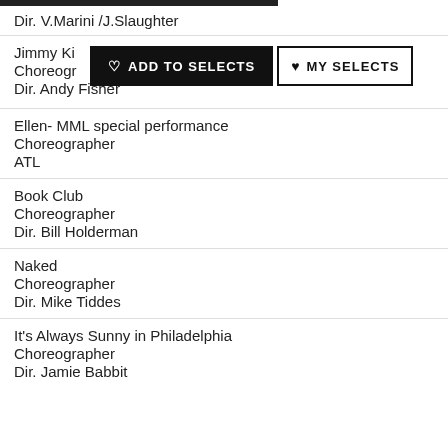Dir. V.Marini /J.Slaughter
Jimmy Kimmel Live Opening / Choreographer / Dir. Andy Fisher
Ellen- MML special performance
Choreographer
ATL
Book Club
Choreographer
Dir. Bill Holderman
Naked
Choreographer
Dir. Mike Tiddes
It's Always Sunny in Philadelphia
Choreographer
Dir. Jamie Babbit